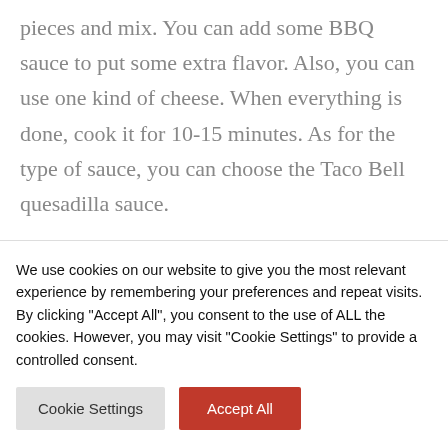pieces and mix. You can add some BBQ sauce to put some extra flavor. Also, you can use one kind of cheese. When everything is done, cook it for 10-15 minutes. As for the type of sauce, you can choose the Taco Bell quesadilla sauce.
3. CHEESE
We use cookies on our website to give you the most relevant experience by remembering your preferences and repeat visits. By clicking "Accept All", you consent to the use of ALL the cookies. However, you may visit "Cookie Settings" to provide a controlled consent.